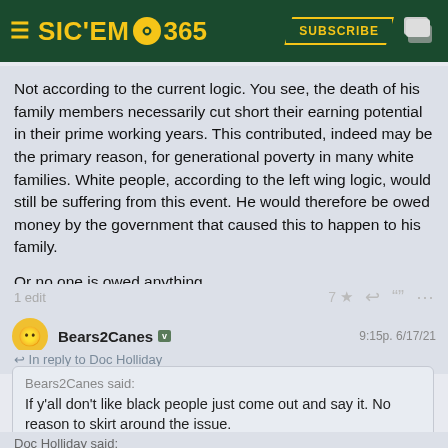SIC'EM 365 — SUBSCRIBE
Not according to the current logic. You see, the death of his family members necessarily cut short their earning potential in their prime working years. This contributed, indeed may be the primary reason, for generational poverty in many white families. White people, according to the left wing logic, would still be suffering from this event. He would therefore be owed money by the government that caused this to happen to his family.

Or no one is owed anything.
1 edit     7★
Bears2Canes  v     9:15p. 6/17/21
↩ In reply to Doc Holliday
Bears2Canes said:
If y'all don't like black people just come out and say it. No reason to skirt around the issue.
Doc Holliday said:
Do you actually believe these concerns about critical race theory